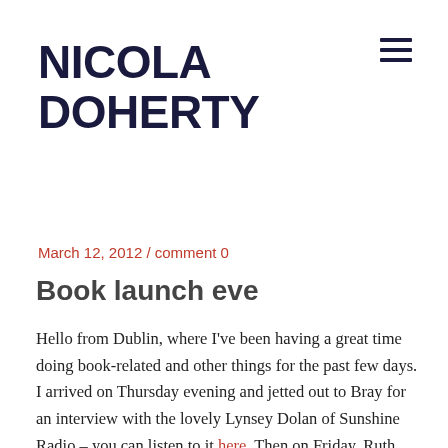NICOLA DOHERTY
March 12, 2012 / comment 0
Book launch eve
Hello from Dublin, where I've been having a great time doing book-related and other things for the past few days. I arrived on Thursday evening and jetted out to Bray for an interview with the lovely Lynsey Dolan of Sunshine Radio – you can listen to it here. Then on Friday, Ruth from Hachette brought